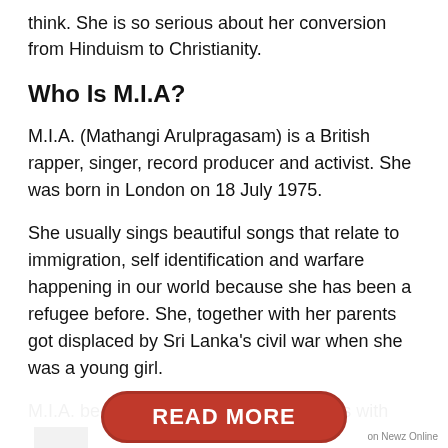think. She is so serious about her conversion from Hinduism to Christianity.
Who Is M.I.A?
M.I.A. (Mathangi Arulpragasam) is a British rapper, singer, record producer and activist. She was born in London on 18 July 1975.
She usually sings beautiful songs that relate to immigration, self identification and warfare happening in our world because she has been a refugee before. She, together with her parents got displaced by Sri Lanka’s civil war when she was a young girl.
M.I.A. became very popular in the 2000s with
[Figure (other): Black rectangle blocking some text at the bottom right]
READ MORE
on Newz Online